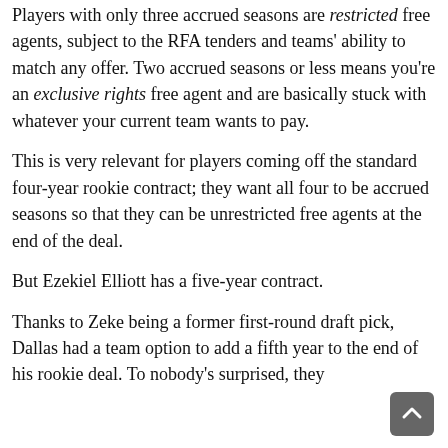Players with only three accrued seasons are restricted free agents, subject to the RFA tenders and teams' ability to match any offer. Two accrued seasons or less means you're an exclusive rights free agent and are basically stuck with whatever your current team wants to pay.
This is very relevant for players coming off the standard four-year rookie contract; they want all four to be accrued seasons so that they can be unrestricted free agents at the end of the deal.
But Ezekiel Elliott has a five-year contract.
Thanks to Zeke being a former first-round draft pick, Dallas had a team option to add a fifth year to the end of his rookie deal. To nobody's surprised, they exercised this right back in April, and extended Elliott